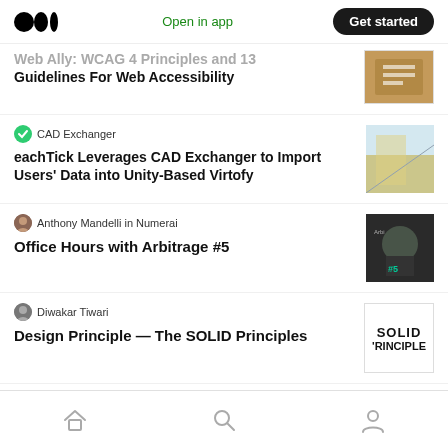Medium logo | Open in app | Get started
Web Ally: WCAG 4 Principles and 13 Guidelines For Web Accessibility
CAD Exchanger
eachTick Leverages CAD Exchanger to Import Users' Data into Unity-Based Virtofy
Anthony Mandelli in Numerai
Office Hours with Arbitrage #5
Diwakar Tiwari
Design Principle — The SOLID Principles
Home | Search | Profile